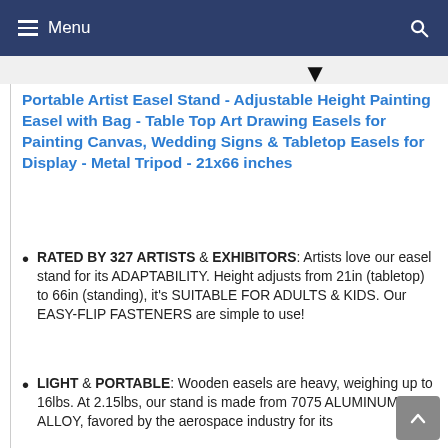Menu
Portable Artist Easel Stand - Adjustable Height Painting Easel with Bag - Table Top Art Drawing Easels for Painting Canvas, Wedding Signs & Tabletop Easels for Display - Metal Tripod - 21x66 inches
RATED BY 327 ARTISTS & EXHIBITORS: Artists love our easel stand for its ADAPTABILITY. Height adjusts from 21in (tabletop) to 66in (standing), it's SUITABLE FOR ADULTS & KIDS. Our EASY-FLIP FASTENERS are simple to use!
LIGHT & PORTABLE: Wooden easels are heavy, weighing up to 16lbs. At 2.15lbs, our stand is made from 7075 ALUMINUM ALLOY, favored by the aerospace industry for its